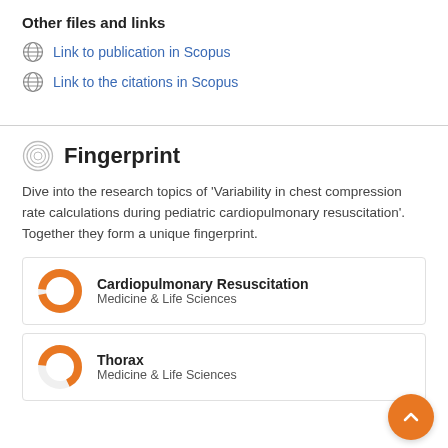Other files and links
Link to publication in Scopus
Link to the citations in Scopus
Fingerprint
Dive into the research topics of 'Variability in chest compression rate calculations during pediatric cardiopulmonary resuscitation'. Together they form a unique fingerprint.
Cardiopulmonary Resuscitation
Medicine & Life Sciences
Thorax
Medicine & Life Sciences